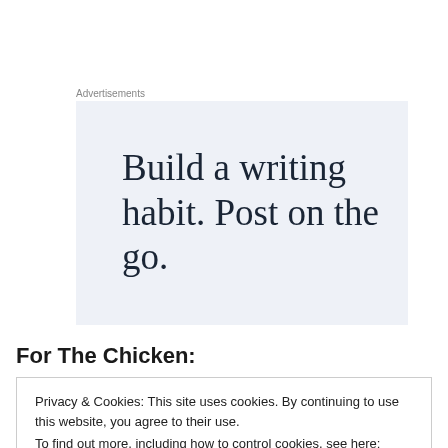Advertisements
[Figure (illustration): Advertisement banner with light blue-grey background showing the text: Build a writing habit. Post on the go.]
For The Chicken:
Privacy & Cookies: This site uses cookies. By continuing to use this website, you agree to their use.
To find out more, including how to control cookies, see here: Cookie Policy
Close and accept